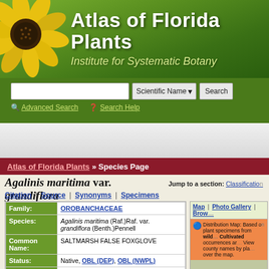[Figure (illustration): Atlas of Florida Plants header banner with yellow flower and green gradient background]
Atlas of Florida Plants
Institute for Systematic Botany
Scientific Name [dropdown] Search | Advanced Search | Search Help
[Figure (other): Advertisement banner area]
Atlas of Florida Plants » Species Page
Agalinis maritima var. grandiflora
Jump to a section: Classification
Citation | Source | Synonyms | Specimens
| Field | Value |
| --- | --- |
| Family: | OROBANCHACEAE |
| Species: | Agalinis maritima (Raf.)Raf. var. grandiflora (Benth.)Pennell |
| Common Name: | SALTMARSH FALSE FOXGLOVE |
| Status: | Native, OBL (DEP), OBL (NWPL) |
| Specimen: | View details of USF Herbarium |
Map | Photo Gallery | Brow...
Distribution Map: Based on plant specimens from wild... Cultivated occurrences ar... View county names by pla... over the map.